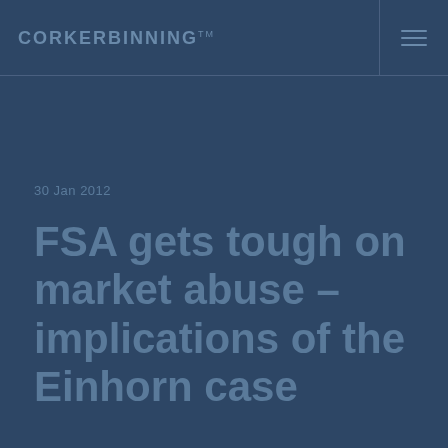CORKERBINNING
30 Jan 2012
FSA gets tough on market abuse – implications of the Einhorn case